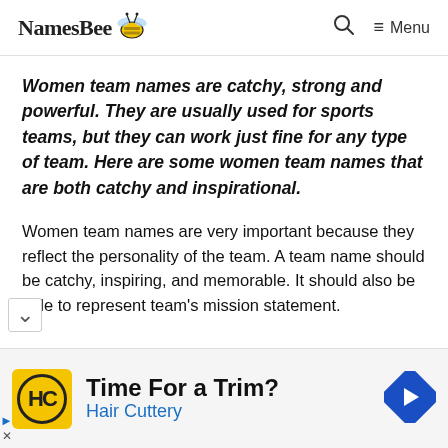NamesBee [logo with bee] | search icon | ≡ Menu
Women team names are catchy, strong and powerful. They are usually used for sports teams, but they can work just fine for any type of team. Here are some women team names that are both catchy and inspirational.
Women team names are very important because they reflect the personality of the team. A team name should be catchy, inspiring, and memorable. It should also be able to represent team's mission statement.
[Figure (infographic): Advertisement banner for Hair Cuttery: 'Time For a Trim?' with yellow HC logo icon and blue navigation arrow icon.]